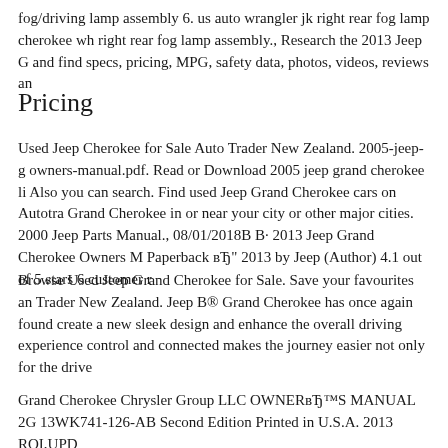fog/driving lamp assembly 6. us auto wrangler jk right rear fog lamp cherokee wh right rear fog lamp assembly., Research the 2013 Jeep G and find specs, pricing, MPG, safety data, photos, videos, reviews an
Pricing
Used Jeep Cherokee for Sale Auto Trader New Zealand. 2005-jeep-g owners-manual.pdf. Read or Download 2005 jeep grand cherokee li Also you can search. Find used Jeep Grand Cherokee cars on Autotra Grand Cherokee in or near your city or other major cities. 2000 Jeep Parts Manual., 08/01/2018В В· 2013 Jeep Grand Cherokee Owners M Paperback вЂ" 2013 by Jeep (Author) 4.1 out of 5 stars 6 customer r
Browse Used Jeep Grand Cherokee for Sale. Save your favourites an Trader New Zealand. Jeep B® Grand Cherokee has once again found create a new sleek design and enhance the overall driving experience control and connected makes the journey easier not only for the drive
Grand Cherokee Chrysler Group LLC OWNERвЂ™S MANUAL 2G 13WK741-126-AB Second Edition Printed in U.S.A. 2013 RQI,UPD